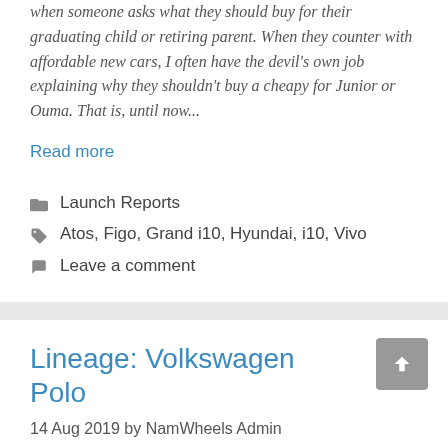when someone asks what they should buy for their graduating child or retiring parent. When they counter with affordable new cars, I often have the devil's own job explaining why they shouldn't buy a cheapy for Junior or Ouma. That is, until now...
Read more
Launch Reports
Atos, Figo, Grand i10, Hyundai, i10, Vivo
Leave a comment
Lineage: Volkswagen Polo
14 Aug 2019 by NamWheels Admin